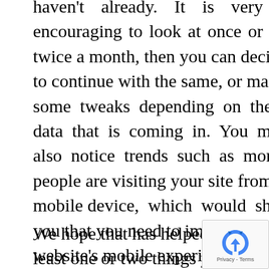haven't already. It is very encouraging to look at once or twice a month, then you can decide to continue with the same, or make some tweaks depending on the data that is coming in. You might also notice trends such as more people are visiting your site from a mobile device, which would show you that you need to improve your website's mobile experience.
We hope that has helped you identi… least one or two things you can try today.
[Figure (logo): reCAPTCHA badge with Privacy - Terms text]